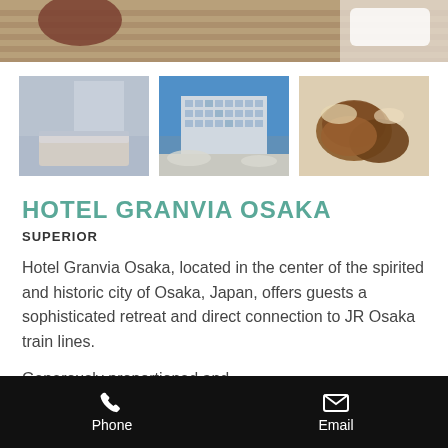[Figure (photo): Top banner photo showing hotel room interior with striped carpet and furniture]
[Figure (photo): Three thumbnail photos: left - hotel room interior, center - hotel exterior building, right - food/dessert]
HOTEL GRANVIA OSAKA
SUPERIOR
Hotel Granvia Osaka, located in the center of the spirited and historic city of Osaka, Japan, offers guests a sophisticated retreat and direct connection to JR Osaka train lines.
Generously proportioned and
Phone  Email